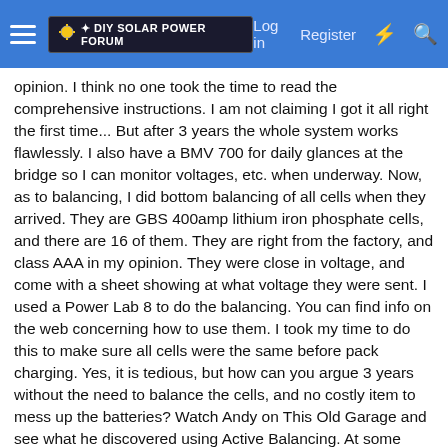DIY Solar Power Forum — Log in | Register
opinion. I think no one took the time to read the comprehensive instructions. I am not claiming I got it all right the first time... But after 3 years the whole system works flawlessly. I also have a BMV 700 for daily glances at the bridge so I can monitor voltages, etc. when underway. Now, as to balancing, I did bottom balancing of all cells when they arrived. They are GBS 400amp lithium iron phosphate cells, and there are 16 of them. They are right from the factory, and class AAA in my opinion. They were close in voltage, and come with a sheet showing at what voltage they were sent. I used a Power Lab 8 to do the balancing. You can find info on the web concerning how to use them. I took my time to do this to make sure all cells were the same before pack charging. Yes, it is tedious, but how can you argue 3 years without the need to balance the cells, and no costly item to mess up the batteries? Watch Andy on This Old Garage and see what he discovered using Active Balancing. At some point, it was actually Unbalancing the cells! I run my system between a low of 20% discharge to around 90% charged. However, in my 800ahr system, records from the BMV show over the years that my deepest discharge was 415Ah, so I